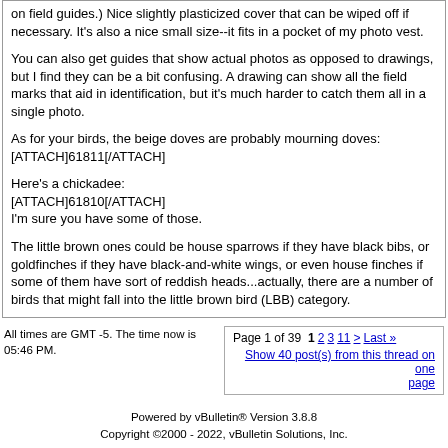on field guides.) Nice slightly plasticized cover that can be wiped off if necessary. It's also a nice small size--it fits in a pocket of my photo vest.

You can also get guides that show actual photos as opposed to drawings, but I find they can be a bit confusing. A drawing can show all the field marks that aid in identification, but it's much harder to catch them all in a single photo.

As for your birds, the beige doves are probably mourning doves: [ATTACH]61811[/ATTACH]

Here's a chickadee:
[ATTACH]61810[/ATTACH]
I'm sure you have some of those.

The little brown ones could be house sparrows if they have black bibs, or goldfinches if they have black-and-white wings, or even house finches if some of them have sort of reddish heads...actually, there are a number of birds that might fall into the little brown bird (LBB) category.
All times are GMT -5. The time now is 05:46 PM.
Page 1 of 39  1  2  3  11  >  Last »
Show 40 post(s) from this thread on one page
Powered by vBulletin® Version 3.8.8
Copyright ©2000 - 2022, vBulletin Solutions, Inc.